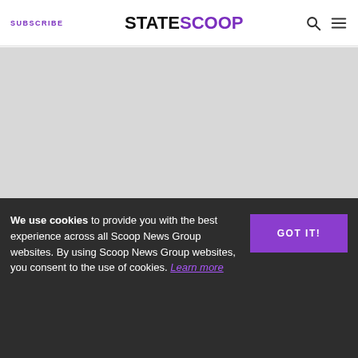SUBSCRIBE | STATESCOOP
[Figure (photo): Large blank/grey image area below the header, likely a hero image placeholder]
Written by StateScoop Staff
AUG 13, 2019 · STATESCOOP
...Scoop News Group has headed... give you the inside scoop on South By Southwest's Interactive and Education conferences...
We use cookies to provide you with the best experience across all Scoop News Group websites. By using Scoop News Group websites, you consent to the use of cookies. Learn more